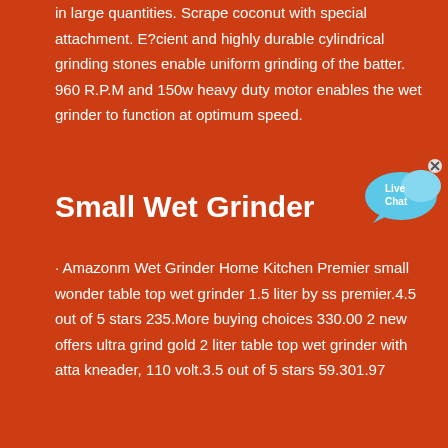in large quantities. Scrape coconut with special attachment. E?cient and highly durable cylindrical grinding stones enable uniform grinding of the batter. 960 R.P.M and 150w heavy duty motor enables the wet grinder to function at optimum speed.
[Figure (other): Live Chat button with speech bubble icon in cyan/blue color with an X close button]
Small Wet Grinder
· Amazonm Wet Grinder Home Kitchen Premier small wonder table top wet grinder 1.5 liter by ss premier.4.5 out of 5 stars 235.More buying choices 330.00 2 new offers ultra grind gold 2 liter table top wet grinder with atta kneader, 110 volt.3.5 out of 5 stars 59.301.97